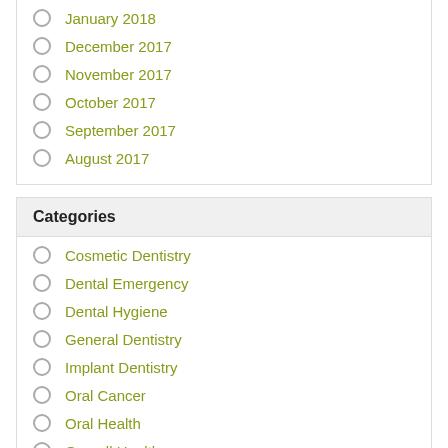January 2018
December 2017
November 2017
October 2017
September 2017
August 2017
Categories
Cosmetic Dentistry
Dental Emergency
Dental Hygiene
General Dentistry
Implant Dentistry
Oral Cancer
Oral Health
Overall Health